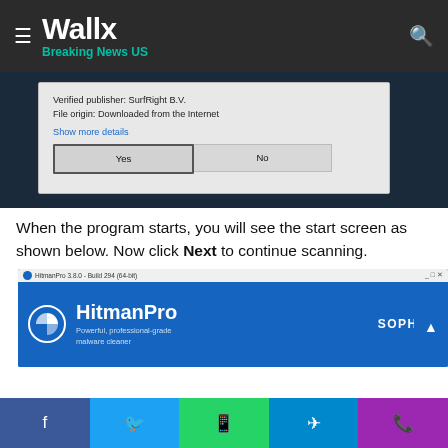Wallx — Breaking News US
[Figure (screenshot): Windows UAC dialog showing Verified publisher: SurfRight B.V., File origin: Downloaded from the Internet, with Show more details link, Yes and No buttons]
When the program starts, you will see the start screen as shown below. Now click Next to continue scanning.
[Figure (screenshot): HitmanPro 3.8.0 Build 294 (64-bit) application window with blue background, HitmanPro logo, tagline Powerful, professional-grade malware cleaner, and SOPHOS branding]